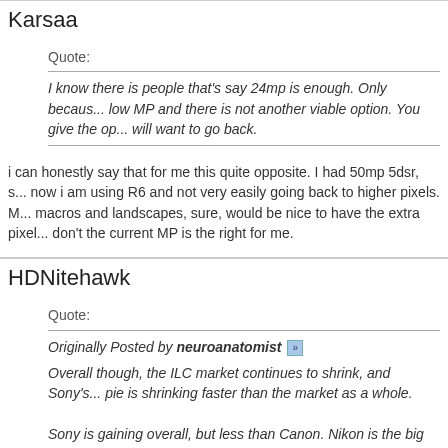Karsaa
Quote:
I know there is people that's say 24mp is enough. Only because low MP and there is not another viable option. You give the op... will want to go back.
i can honestly say that for me this quite opposite. I had 50mp 5dsr, s... now i am using R6 and not very easily going back to higher pixels. M... macros and landscapes, sure, would be nice to have the extra pixel... don't the current MP is the right for me.
HDNitehawk
Quote:
Originally Posted by neuroanatomist
Overall though, the ILC market continues to shrink, and Sony's... pie is shrinking faster than the market as a whole.
Sony is gaining overall, but less than Canon. Nikon is the big l... few years (and they're hit harder by that at the corporate level,... ~1/3 of their business).